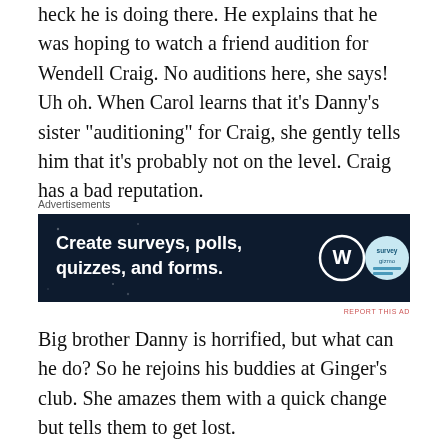heck he is doing there. He explains that he was hoping to watch a friend audition for Wendell Craig. No auditions here, she says! Uh oh. When Carol learns that it's Danny's sister “auditioning” for Craig, she gently tells him that it’s probably not on the level. Craig has a bad reputation.
Advertisements
[Figure (screenshot): Advertisement banner with dark navy background reading 'Create surveys, polls, quizzes, and forms.' with WordPress logo and circular survey badge icon]
REPORT THIS AD
Big brother Danny is horrified, but what can he do? So he rejoins his buddies at Ginger’s club. She amazes them with a quick change but tells them to get lost.
[Figure (photo): Film still showing a woman in a white blouse with three men in dark suits and sailor uniforms in what appears to be a dressing room. Watermark reads 'Blonde at the Film'.]